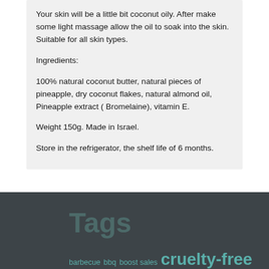Your skin will be a little bit coconut oily. After make some light massage allow the oil to soak into the skin. Suitable for all skin types.
Ingredients:
100% natural coconut butter, natural pieces of pineapple, dry coconut flakes, natural almond oil, Pineapple extract ( Bromelaine), vitamin E.
Weight 150g. Made in Israel.
Store in the refrigerator, the shelf life of 6 months.
Tags
barbecue  bbq  boost sales  cruelty-free  cruelty-free beauty  easy recipes  ethical clothing  family recipes  healthy  hidden ingredients